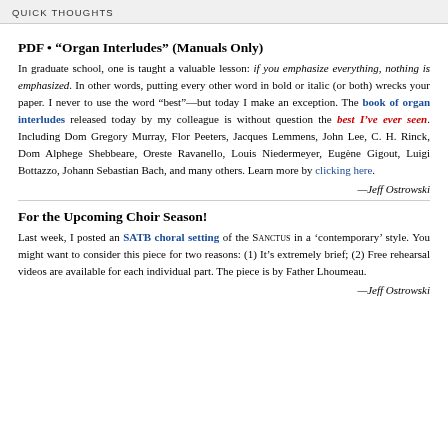QUICK THOUGHTS
PDF • “Organ Interludes” (Manuals Only)
In graduate school, one is taught a valuable lesson: if you emphasize everything, nothing is emphasized. In other words, putting every other word in bold or italic (or both) wrecks your paper. I never to use the word “best”—but today I make an exception. The book of organ interludes released today by my colleague is without question the best I’ve ever seen. Including Dom Gregory Murray, Flor Peeters, Jacques Lemmens, John Lee, C. H. Rinck, Dom Alphege Shebbeare, Oreste Ravanello, Louis Niedermeyer, Eugène Gigout, Luigi Bottazzo, Johann Sebastian Bach, and many others. Learn more by clicking here.
—Jeff Ostrowski
For the Upcoming Choir Season!
Last week, I posted an SATB choral setting of the SANCTUS in a ‘contemporary’ style. You might want to consider this piece for two reasons: (1) It’s extremely brief; (2) Free rehearsal videos are available for each individual part. The piece is by Father Lhoumeau.
—Jeff Ostrowski